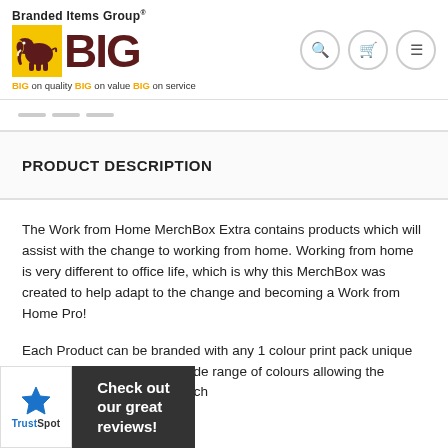[Figure (logo): Branded Items Group BIG logo with elephant on yellow background, tagline: BIG on quality BIG on value BIG on service]
PRODUCT DESCRIPTION
The Work from Home MerchBox Extra contains products which will assist with the change to working from home. Working from home is very different to office life, which is why this MerchBox was created to help adapt to the change and becoming a Work from Home Pro!
Each Product can be branded with any 1 colour print pack unique to the company. Each in a wide range of colours allowing the colours of the product or match